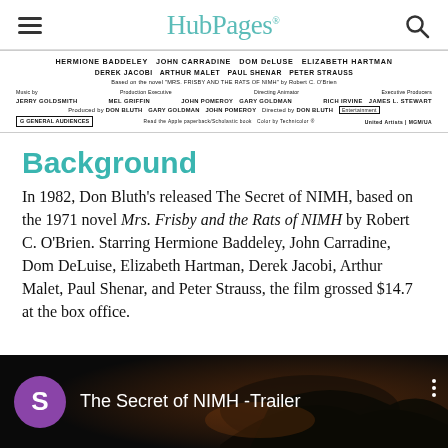HubPages
[Figure (other): Movie credits text from The Secret of NIMH (1982), showing cast and crew names in small print against white background]
Background
In 1982, Don Bluth's released The Secret of NIMH, based on the 1971 novel Mrs. Frisby and the Rats of NIMH by Robert C. O'Brien. Starring Hermione Baddeley, John Carradine, Dom DeLuise, Elizabeth Hartman, Derek Jacobi, Arthur Malet, Paul Shenar, and Peter Strauss, the film grossed $14.7 at the box office.
[Figure (screenshot): YouTube video thumbnail for 'The Secret of NIMH -Trailer' with purple S avatar icon and dark background showing silhouette of bird or creature]